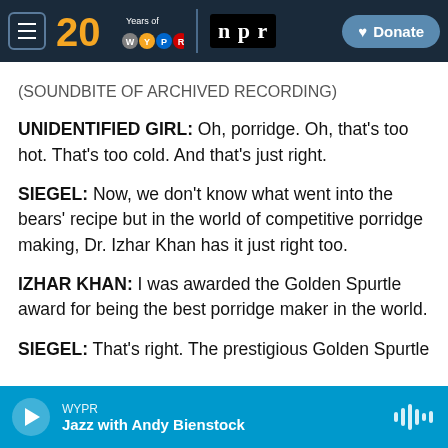[Figure (screenshot): WYPR 20 Years / NPR navigation bar with hamburger menu, 20 Years of WYPR logo, NPR logo, and Donate button]
(SOUNDBITE OF ARCHIVED RECORDING)
UNIDENTIFIED GIRL: Oh, porridge. Oh, that's too hot. That's too cold. And that's just right.
SIEGEL: Now, we don't know what went into the bears' recipe but in the world of competitive porridge making, Dr. Izhar Khan has it just right too.
IZHAR KHAN: I was awarded the Golden Spurtle award for being the best porridge maker in the world.
SIEGEL: That's right. The prestigious Golden Spurtle
[Figure (screenshot): WYPR audio player bar showing play button, station name WYPR, and show title Jazz with Andy Bienstock, with waveform icon]